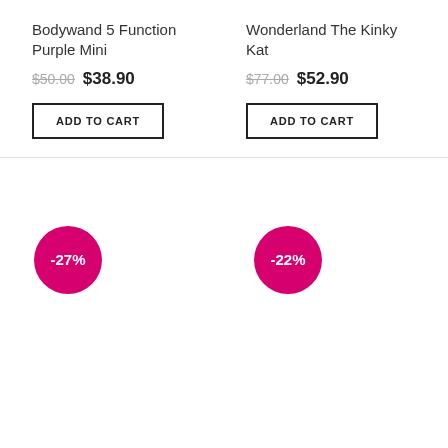Bodywand 5 Function Purple Mini
$50.00  $38.90
ADD TO CART
Wonderland The Kinky Kat
$77.00  $52.90
ADD TO CART
-27%
-22%